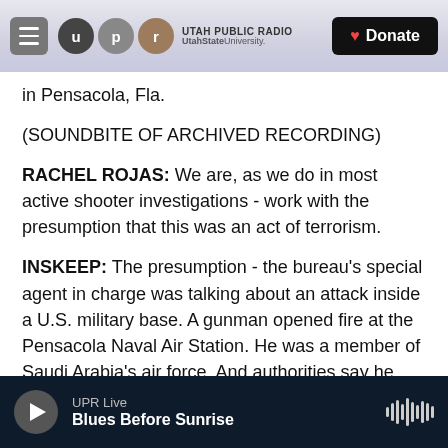Utah Public Radio | UtahState University | Donate
in Pensacola, Fla.
(SOUNDBITE OF ARCHIVED RECORDING)
RACHEL ROJAS: We are, as we do in most active shooter investigations - work with the presumption that this was an act of terrorism.
INSKEEP: The presumption - the bureau's special agent in charge was talking about an attack inside a U.S. military base. A gunman opened fire at the Pensacola Naval Air Station. He was a member of Saudi Arabia's air force. And authorities say he killed three people on Friday. Now, first, reports are
UPR Live | Blues Before Sunrise